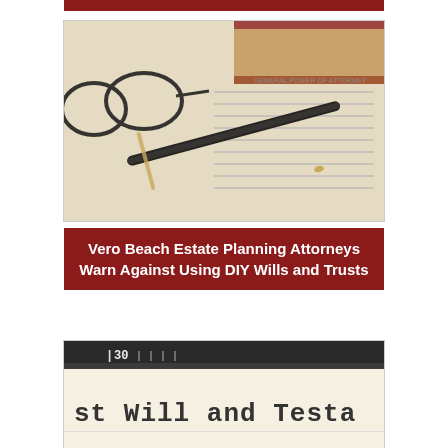[Figure (photo): Legal document (Power of Attorney) with a black and gold pen resting on it, and dark-rimmed eyeglasses and a brown leather book in the background]
Vero Beach Estate Planning Attorneys Warn Against Using DIY Wills and Trusts
[Figure (photo): Typewriter with paper showing text 'Last Will and Testa...' with the typewriter roller visible at top showing number 30]